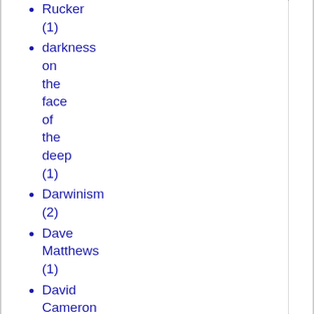Rucker (1)
darkness on the face of the deep (1)
Darwinism (2)
Dave Matthews (1)
David Cameron (1)
David Frum (3)
David Hacket Fischer (1)